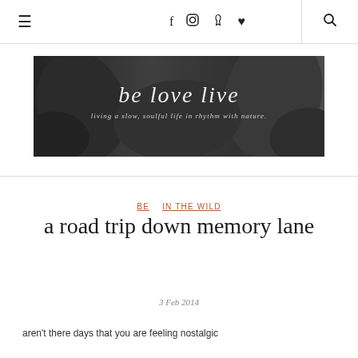≡  f  ◎  ℗  ♥  🔍
[Figure (photo): Black and white banner image with leaves in the background. White script text reads 'be love live' with subtitle 'living a slow, soulful life in rhythm with nature.']
BE  IN THE WILD
a road trip down memory lane
3 Feb 2014
aren't there days that you are feeling nostalgic